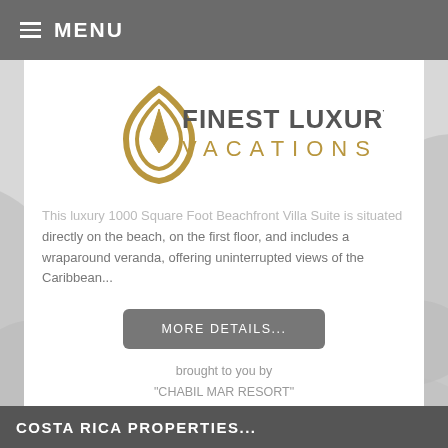MENU
[Figure (logo): Finest Luxury Vacations logo — gold teardrop/pen nib icon with text 'FINEST LUXURY VACATIONS']
This luxury 1000 Square Foot Beachfront Villa Suite is situated directly on the beach, on the first floor, and includes a wraparound veranda, offering uninterrupted views of the Caribbean...
MORE DETAILS...
brought to you by
"CHABIL MAR RESORT"
COSTA RICA PROPERTIES...